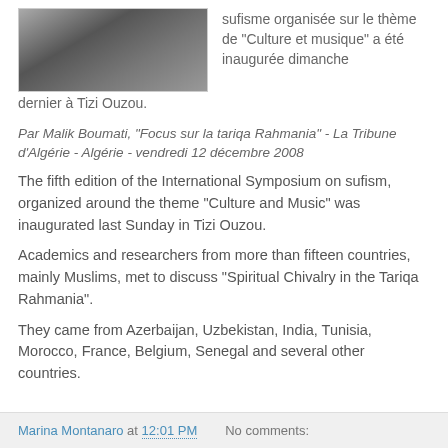[Figure (photo): Photo of people in a meeting or gathering, appears to be in dark clothing]
sufisme organisée sur le thème de "Culture et musique" a été inaugurée dimanche dernier à Tizi Ouzou.
Par Malik Boumati, "Focus sur la tariqa Rahmania" - La Tribune d'Algérie - Algérie - vendredi 12 décembre 2008
The fifth edition of the International Symposium on sufism, organized around the theme "Culture and Music" was inaugurated last Sunday in Tizi Ouzou.
Academics and researchers from more than fifteen countries, mainly Muslims, met to discuss "Spiritual Chivalry in the Tariqa Rahmania".
They came from Azerbaijan, Uzbekistan, India, Tunisia, Morocco, France, Belgium, Senegal and several other countries.
Marina Montanaro at 12:01 PM   No comments: